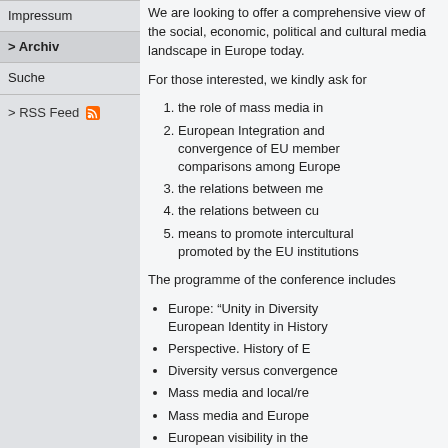Impressum
> Archiv
Suche
> RSS Feed
We are looking to offer a comprehensive view of the social, economic, political and cultural media landscape in Europe today.
For those interested, we kindly ask for
the role of mass media in
European Integration and convergence of EU member comparisons among Europe
the relations between me
the relations between cu
means to promote intercultural promoted by the EU institutions
The programme of the conference includes
Europe: “Unity in Diversity European Identity in History
Perspective. History of E
Diversity versus convergence
Mass media and local/re
Mass media and Europe
European visibility in the
European citizenship